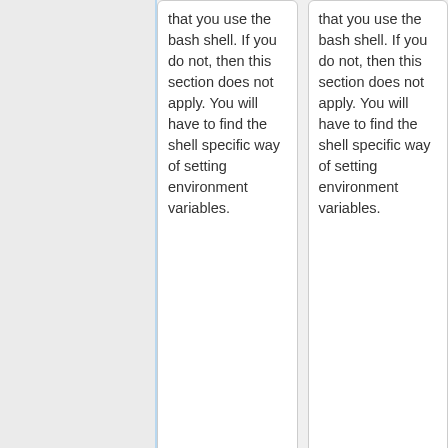that you use the bash shell. If you do not, then this section does not apply. You will have to find the shell specific way of setting environment variables.
that you use the bash shell. If you do not, then this section does not apply. You will have to find the shell specific way of setting environment variables.
For bash, you should look in the home directory of the user account you just created for a file .profile. You will want to add one more line to this file:
For bash, you should look in the home directory of the user account you just created for a file <tt>.profile</tt>. You will want to add one more